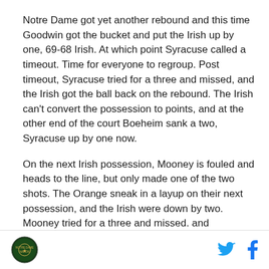Notre Dame got yet another rebound and this time Goodwin got the bucket and put the Irish up by one, 69-68 Irish. At which point Syracuse called a timeout. Time for everyone to regroup. Post timeout, Syracuse tried for a three and missed, and the Irish got the ball back on the rebound. The Irish can't convert the possession to points, and at the other end of the court Boeheim sank a two, Syracuse up by one now.
On the next Irish possession, Mooney is fouled and heads to the line, but only made one of the two shots. The Orange sneak in a layup on their next possession, and the Irish were down by two. Mooney tried for a three and missed. and Syracuse's Quincy Guerrier
[logo] [twitter] [facebook]